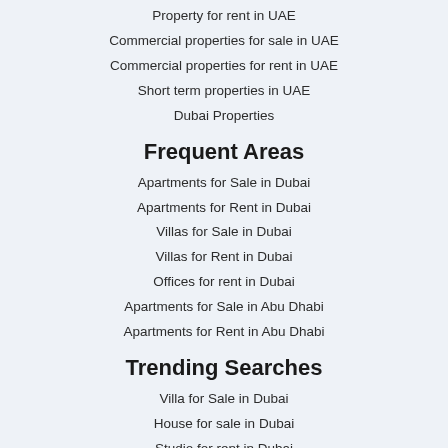Property for rent in UAE
Commercial properties for sale in UAE
Commercial properties for rent in UAE
Short term properties in UAE
Dubai Properties
Frequent Areas
Apartments for Sale in Dubai
Apartments for Rent in Dubai
Villas for Sale in Dubai
Villas for Rent in Dubai
Offices for rent in Dubai
Apartments for Sale in Abu Dhabi
Apartments for Rent in Abu Dhabi
Trending Searches
Villa for Sale in Dubai
House for sale in Dubai
Studio for rent in Dubai